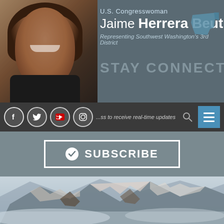[Figure (screenshot): Website header for U.S. Congresswoman Jaime Herrera Beutler showing photo, name, district, social media icons, subscribe button and mountain photo]
U.S. Congresswoman Jaime Herrera Beutler — Representing Southwest Washington's 3rd District
STAY CONNECTED
...address to receive real-time updates about my work in Co...
SUBSCRIBE